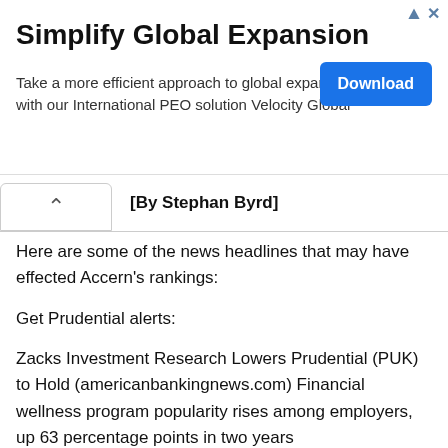[Figure (other): Advertisement banner: Simplify Global Expansion - Take a more efficient approach to global expansion with our International PEO solution Velocity Global. Download button on right.]
[By Stephan Byrd]
Here are some of the news headlines that may have effected Accern's rankings:
Get Prudential alerts:
Zacks Investment Research Lowers Prudential (PUK) to Hold (americanbankingnews.com) Financial wellness program popularity rises among employers, up 63 percentage points in two years (markets.financialcontent.com) FY2018 EPS Estimates for Prudential (PUK) Reduced by Jefferies Group (americanbankingnews.com) Jefferies Group Weighs in on Prudential's FY2020 Earnings (PUK) (americanbankingnews.com) ValuEngine Downgrades